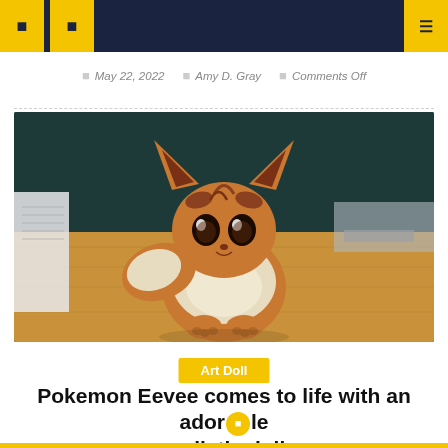Navigation bar with menu icons
May 22, 2022  Amy D. Gray  Comments Off
[Figure (illustration): Anime-style illustration of Pokemon Eevee sitting on a wooden floor with a teal wall background. Eevee is a small brown fox-like creature with large ears, big brown eyes, fluffy cream-colored ruff, and a bushy tail.]
Art Doll
Pokemon Eevee comes to life with an adorable realistic doll